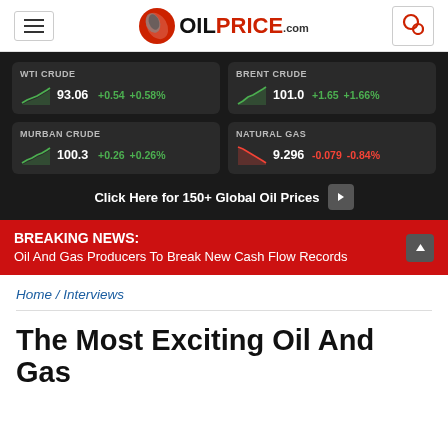[Figure (screenshot): OilPrice.com website header with navigation bar showing hamburger menu, OilPrice.com logo, and chat icon]
[Figure (infographic): Oil price ticker panel showing WTI CRUDE 93.06 +0.54 +0.58%, BRENT CRUDE 101.0 +1.65 +1.66%, MURBAN CRUDE 100.3 +0.26 +0.26%, NATURAL GAS 9.296 -0.079 -0.84%, with sparkline charts and Click Here for 150+ Global Oil Prices button]
BREAKING NEWS: Oil And Gas Producers To Break New Cash Flow Records
Home / Interviews
The Most Exciting Oil And Gas